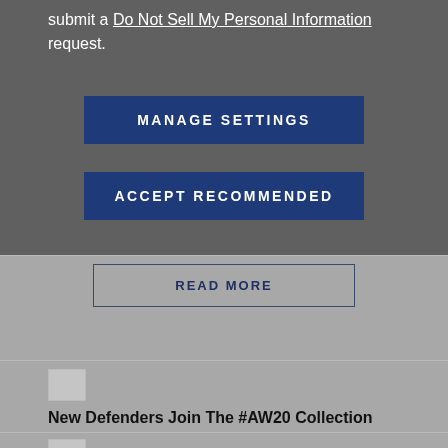submit a Do Not Sell My Personal Information request.
[Figure (screenshot): MANAGE SETTINGS button - dark blue button in modal overlay]
[Figure (screenshot): ACCEPT RECOMMENDED button - dark blue button in modal overlay]
[Figure (screenshot): READ MORE button - outlined button below first article card]
[Figure (photo): Broken image placeholder for article thumbnail]
New Defenders Join The #AW20 Collection
[Figure (screenshot): READ MORE button - outlined button below second article card]
[Figure (photo): Broken image placeholder for third article thumbnail]